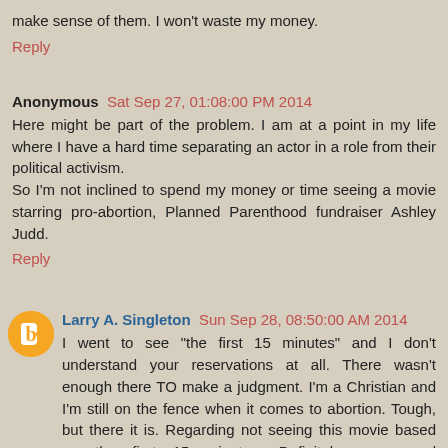make sense of them. I won't waste my money.
Reply
Anonymous  Sat Sep 27, 01:08:00 PM 2014
Here might be part of the problem. I am at a point in my life where I have a hard time separating an actor in a role from their political activism.
So I'm not inclined to spend my money or time seeing a movie starring pro-abortion, Planned Parenthood fundraiser Ashley Judd.
Reply
Larry A. Singleton  Sun Sep 28, 08:50:00 AM 2014
I went to see "the first 15 minutes" and I don't understand your reservations at all. There wasn't enough there TO make a judgment. I'm a Christian and I'm still on the fence when it comes to abortion. Tough, but there it is. Regarding not seeing this movie based on the first 15 minutes; Definitely recommend independently investigating (No